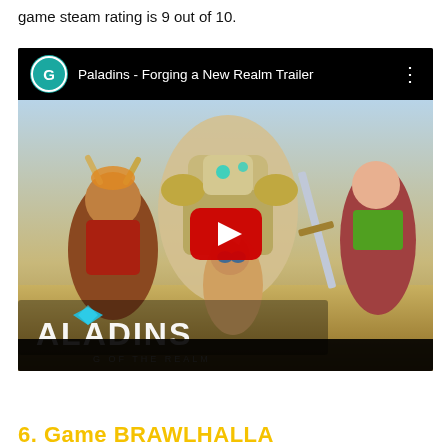game steam rating is 9 out of 10.
[Figure (screenshot): YouTube video thumbnail for 'Paladins - Forging a New Realm Trailer' showing game characters including warriors and a fox-like character in fantasy/sci-fi armor, with PALADINS logo visible and YouTube play button overlay. Video player shown with channel icon (G) in teal circle.]
6. Game BRAWLHALLA